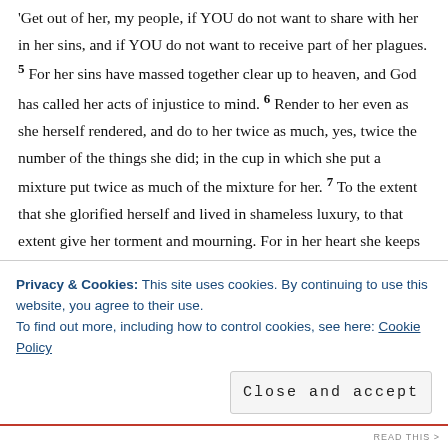'Get out of her, my people, if YOU do not want to share with her in her sins, and if YOU do not want to receive part of her plagues. 5 For her sins have massed together clear up to heaven, and God has called her acts of injustice to mind. 6 Render to her even as she herself rendered, and do to her twice as much, yes, twice the number of the things she did; in the cup in which she put a mixture put twice as much of the mixture for her. 7 To the extent that she glorified herself and lived in shameless luxury, to that extent give her torment and mourning. For in her heart she keeps saying, 'I sit a queen, and I am no widow, and I shall never see mourning.' 8 That is why in one day her plagues will come, death and mourning and famine, and she will be completely burned with fire, because Jehovah God, who judged her, is strong.
Privacy & Cookies: This site uses cookies. By continuing to use this website, you agree to their use. To find out more, including how to control cookies, see here: Cookie Policy
Close and accept